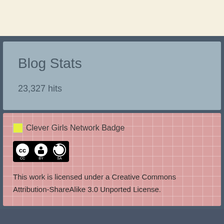Blog Stats
23,327 hits
[Figure (other): Clever Girls Network Badge placeholder image]
[Figure (other): Creative Commons Attribution-ShareAlike license badge (CC BY SA icons)]
This work is licensed under a Creative Commons Attribution-ShareAlike 3.0 Unported License.